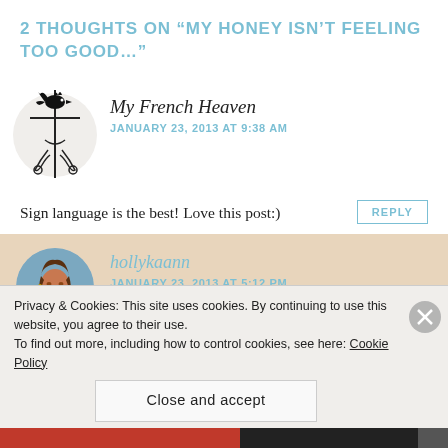2 THOUGHTS ON “MY HONEY ISN’T FEELING TOO GOOD…”
[Figure (illustration): Weather vane / rooster on a decorative stand logo illustration]
My French Heaven
JANUARY 23, 2013 AT 9:38 AM
Sign language is the best! Love this post:)
REPLY
[Figure (photo): Profile photo of hollykaann - woman with brown hair smiling outdoors]
hollykaann
JANUARY 23, 2013 AT 5:12 PM
Privacy & Cookies: This site uses cookies. By continuing to use this website, you agree to their use.
To find out more, including how to control cookies, see here: Cookie Policy
Close and accept